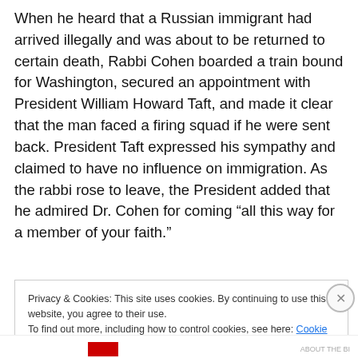When he heard that a Russian immigrant had arrived illegally and was about to be returned to certain death, Rabbi Cohen boarded a train bound for Washington, secured an appointment with President William Howard Taft, and made it clear that the man faced a firing squad if he were sent back. President Taft expressed his sympathy and claimed to have no influence on immigration. As the rabbi rose to leave, the President added that he admired Dr. Cohen for coming “all this way for a member of your faith.”
Privacy & Cookies: This site uses cookies. By continuing to use this website, you agree to their use.
To find out more, including how to control cookies, see here: Cookie Policy